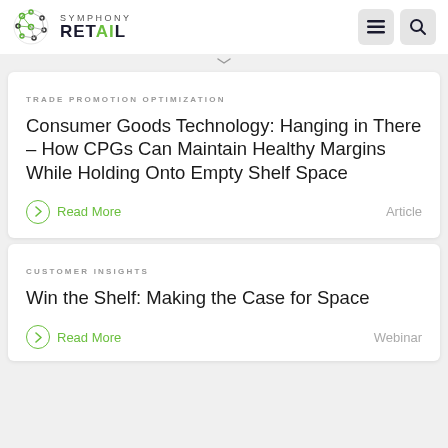SYMPHONY RETAIL
TRADE PROMOTION OPTIMIZATION
Consumer Goods Technology: Hanging in There – How CPGs Can Maintain Healthy Margins While Holding Onto Empty Shelf Space
Read More    Article
CUSTOMER INSIGHTS
Win the Shelf: Making the Case for Space
Read More    Webinar